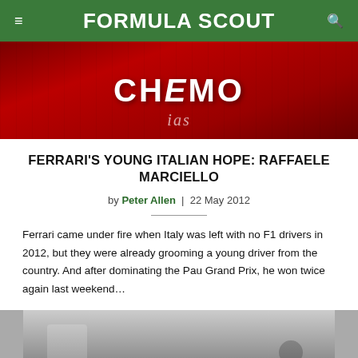FORMULA SCOUT
[Figure (photo): Racing driver in a red kart suit with CHEMO sponsor logo visible on chest, wearing a red helmet, seated in a racing kart.]
FERRARI'S YOUNG ITALIAN HOPE: RAFFAELE MARCIELLO
by Peter Allen | 22 May 2012
Ferrari came under fire when Italy was left with no F1 drivers in 2012, but they were already grooming a young driver from the country. And after dominating the Pau Grand Prix, he won twice again last weekend…
[Figure (photo): Partial view of a racing event, appears to show a thumbs up gesture or celebration at a race circuit.]